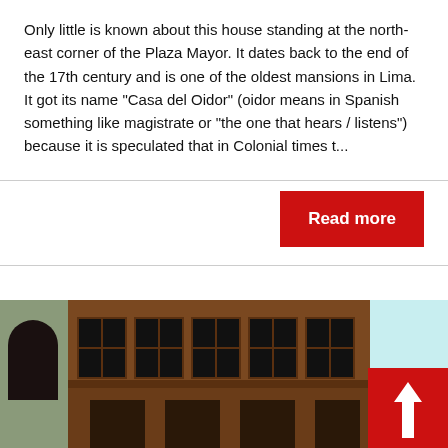Only little is known about this house standing at the north-east corner of the Plaza Mayor. It dates back to the end of the 17th century and is one of the oldest mansions in Lima. It got its name "Casa del Oidor" (oidor means in Spanish something like magistrate or "the one that hears / listens") because it is speculated that in Colonial times t...
[Figure (other): Button labeled 'Read more' with red background and white bold text]
[Figure (photo): Photograph of an ornate historic building facade in Lima showing wooden balconies and large windows, with a pale blue sky on the right side. A red square button with a white upward arrow is overlaid at the bottom right.]